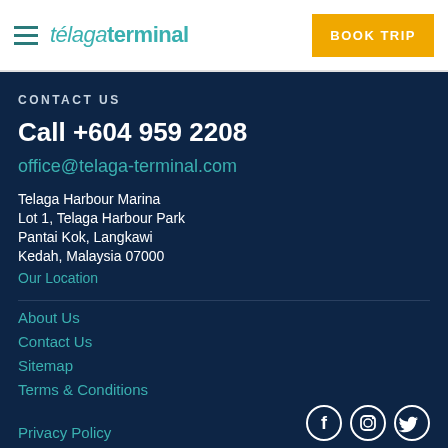télagaterminal | BOOK TRIP
CONTACT US
Call +604 959 2208
office@telaga-terminal.com
Telaga Harbour Marina
Lot 1, Telaga Harbour Park
Pantai Kok, Langkawi
Kedah, Malaysia 07000
Our Location
About Us
Contact Us
Sitemap
Terms & Conditions
Privacy Policy
[Figure (other): Social media icons: Facebook, Instagram, Twitter]